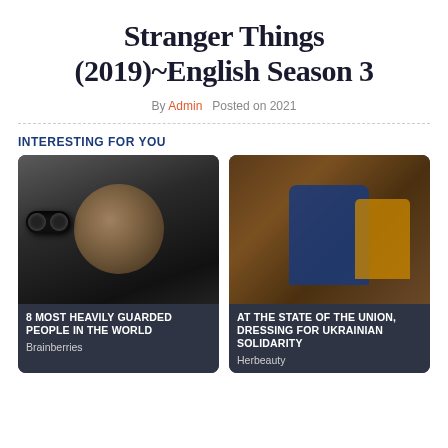Stranger Things (2019)~English Season 3
By Admin   Posted on 2021
INTERESTING FOR YOU
[Figure (photo): Man looking through binoculars, with card headline '8 MOST HEAVILY GUARDED PEOPLE IN THE WORLD' and source 'Brainberries']
[Figure (photo): Group of people posing for a photo, with card headline 'AT THE STATE OF THE UNION, DRESSING FOR UKRAINIAN SOLIDARITY' and source 'Herbeauty']